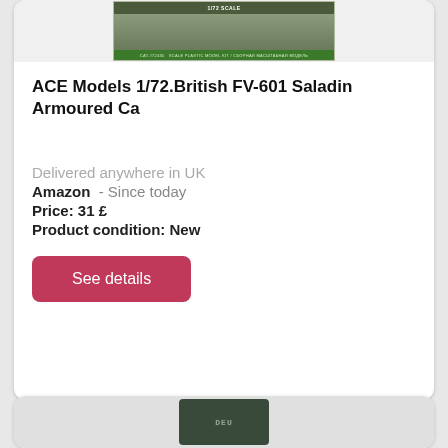[Figure (photo): Product image of ACE Models 1/72 British FV-601 Saladin Armoured Car model kit box, showing a military vehicle on the box art with green branding bar and catalog number label.]
ACE Models 1/72.British FV-601 Saladin Armoured Ca
Delivered anywhere in UK
Amazon  - Since today
Price: 31 £
Product condition: New
See details
[Figure (photo): Partial product image at the bottom of page, showing another model kit box with a dark background and partial logo visible.]